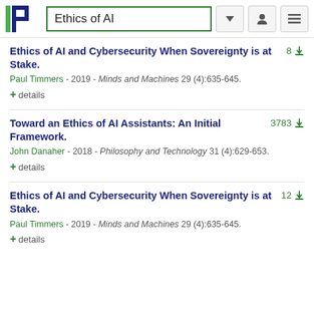Ethics of AI
Ethics of AI and Cybersecurity When Sovereignty is at Stake. Paul Timmers - 2019 - Minds and Machines 29 (4):635-645. + details [8 citations]
Toward an Ethics of AI Assistants: An Initial Framework. John Danaher - 2018 - Philosophy and Technology 31 (4):629-653. + details [3783 citations]
Ethics of AI and Cybersecurity When Sovereignty is at Stake. Paul Timmers - 2019 - Minds and Machines 29 (4):635-645. + details [12 citations]